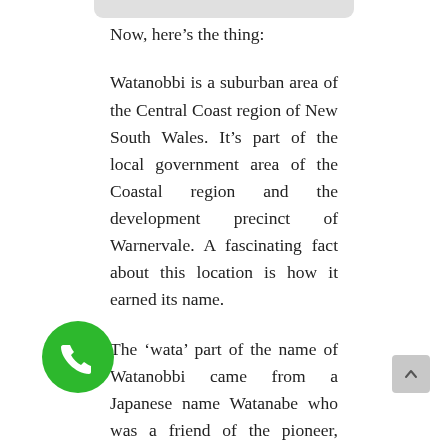Now, here's the thing:
Watanobbi is a suburban area of the Central Coast region of New South Wales. It's part of the local government area of the Coastal region and the development precinct of Warnervale. A fascinating fact about this location is how it earned its name.
The ‘wata’ part of the name of Watanobbi came from a Japanese name Watanabe who was a friend of the pioneer, Albert Warner. Then, the ‘nobbi’ came from the nobby shape of the surrounding terrain of the area. Thus, the combination of these two words resulted in this suburb's name.